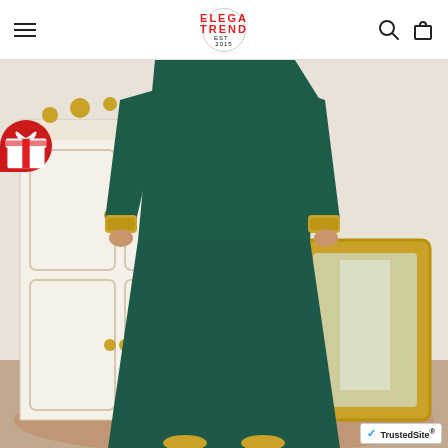ELEGA TREND EST. 2015 — navigation header with hamburger menu, logo, search and cart icons
[Figure (photo): A woman wearing a long dark teal/green abaya (Islamic dress) with gold embroidered cuffs, standing in an ornate room with a white baroque-style wardrobe and a gold-framed mirror. She is wearing gold heels. A red gift badge icon is overlaid on the left side of the image. A TrustedSite badge appears in the bottom right corner.]